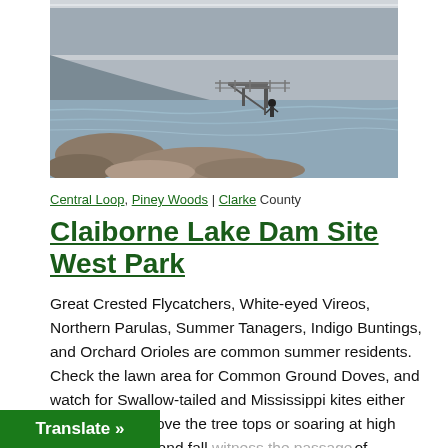[Figure (photo): Aerial/angled view of a dam with water flowing over it, rocky shoreline in the foreground, a person standing on a metal walkway/platform structure, and turbulent water below.]
Central Loop, Piney Woods | Clarke County
Claiborne Lake Dam Site West Park
Great Crested Flycatchers, White-eyed Vireos, Northern Parulas, Summer Tanagers, Indigo Buntings, and Orchard Orioles are common summer residents. Check the lawn area for Common Ground Doves, and watch for Swallow-tailed and Mississippi kites either foraging just above the tree tops or soaring at high altitude. Spring and fall witness the passage of numerous migrants including ... osbeaks.
Translate »